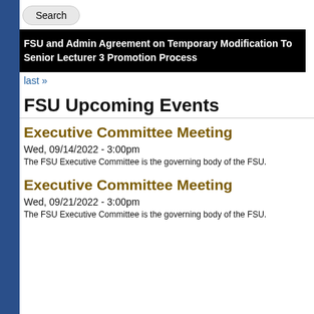Search
FSU and Admin Agreement on Temporary Modification To Senior Lecturer 3 Promotion Process
last »
FSU Upcoming Events
Executive Committee Meeting
Wed, 09/14/2022 - 3:00pm
The FSU Executive Committee is the governing body of the FSU.
Executive Committee Meeting
Wed, 09/21/2022 - 3:00pm
The FSU Executive Committee is the governing body of the FSU.